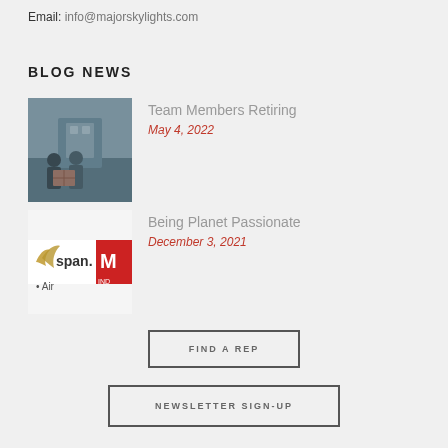Email: info@majorskylights.com
BLOG NEWS
[Figure (photo): Two people standing with industrial equipment in a factory setting]
Team Members Retiring
May 4, 2022
[Figure (photo): Logos including 'span.' and 'M' brand logos on white background, with text 'Air']
Being Planet Passionate
December 3, 2021
FIND A REP
NEWSLETTER SIGN-UP